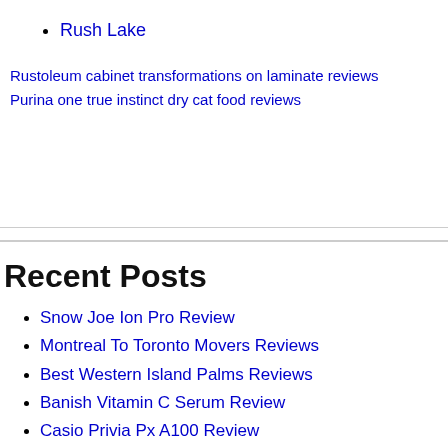Rush Lake
Rustoleum cabinet transformations on laminate reviews
Purina one true instinct dry cat food reviews
Recent Posts
Snow Joe Ion Pro Review
Montreal To Toronto Movers Reviews
Best Western Island Palms Reviews
Banish Vitamin C Serum Review
Casio Privia Px A100 Review
Vizio E Series 55 Review